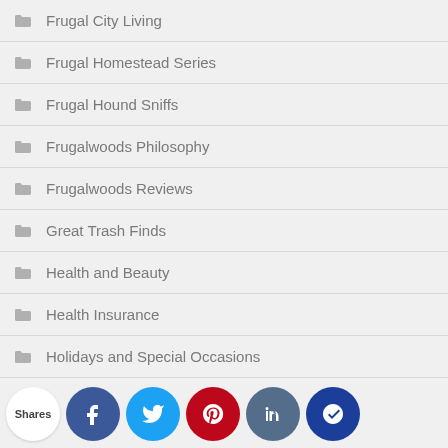Frugal City Living
Frugal Homestead Series
Frugal Hound Sniffs
Frugalwoods Philosophy
Frugalwoods Reviews
Great Trash Finds
Health and Beauty
Health Insurance
Holidays and Special Occasions
Home Improvement